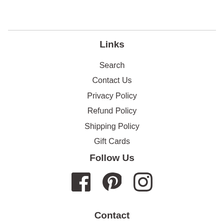Links
Search
Contact Us
Privacy Policy
Refund Policy
Shipping Policy
Gift Cards
Follow Us
[Figure (infographic): Social media icons: Facebook, Pinterest, Instagram]
Contact